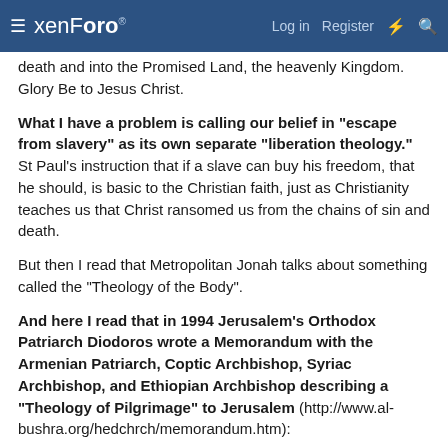xenForo | Log in | Register
death and into the Promised Land, the heavenly Kingdom. Glory Be to Jesus Christ.
What I have a problem is calling our belief in "escape from slavery" as its own separate "liberation theology." St Paul's instruction that if a slave can buy his freedom, that he should, is basic to the Christian faith, just as Christianity teaches us that Christ ransomed us from the chains of sin and death.
But then I read that Metropolitan Jonah talks about something called the "Theology of the Body".
And here I read that in 1994 Jerusalem's Orthodox Patriarch Diodoros wrote a Memorandum with the Armenian Patriarch, Coptic Archbishop, Syriac Archbishop, and Ethiopian Archbishop describing a "Theology of Pilgrimage" to Jerusalem (http://www.al-bushra.org/hedchrch/memorandum.htm):